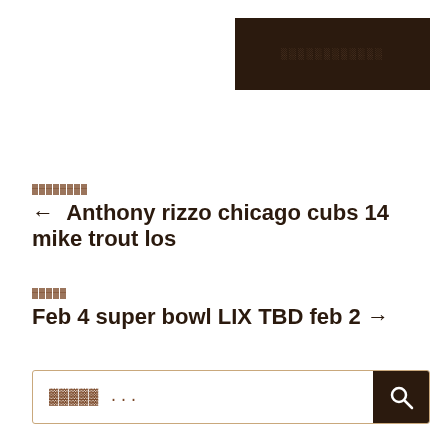[Figure (other): Dark brown rectangular header/logo block with small dotted/pixelated text in lighter brown]
▓▓▓▓▓▓▓▓
← Anthony rizzo chicago cubs 14 mike trout los
▓▓▓▓▓
Feb 4 super bowl LIX TBD feb 2 →
▓▓▓▓▓ ...